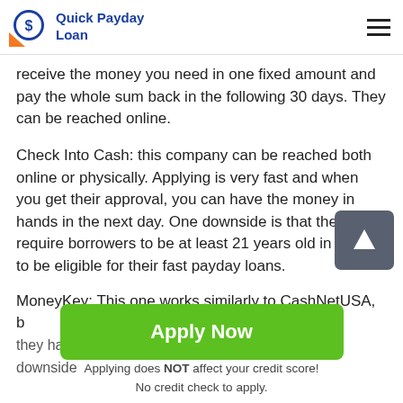Quick Payday Loan
receive the money you need in one fixed amount and pay the whole sum back in the following 30 days. They can be reached online.
Check Into Cash: this company can be reached both online or physically. Applying is very fast and when you get their approval, you can have the money in hands in the next day. One downside is that they require borrowers to be at least 21 years old in order to be eligible for their fast payday loans.
MoneyKey: This one works similarly to CashNetUSA, but they have live agents as well. They don't have the downside
[Figure (other): Green Apply Now button]
Applying does NOT affect your credit score!
No credit check to apply.